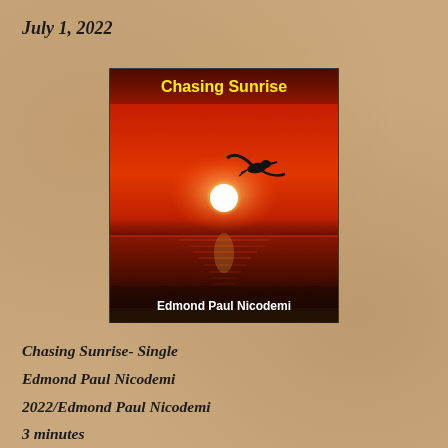July 1, 2022
[Figure (illustration): Album cover for 'Chasing Sunrise' by Edmond Paul Nicodemi. Features a dramatic sunset/sunrise with a bright white sun over a deep red-orange ocean. A silhouette of a bird in flight is visible near the sun. The title 'Chasing Sunrise' appears in yellow text at the top, and 'Edmond Paul Nicodemi' in white text at the bottom.]
Chasing Sunrise- Single
Edmond Paul Nicodemi
2022/Edmond Paul Nicodemi
3 minutes
Review by Kathy Parsons